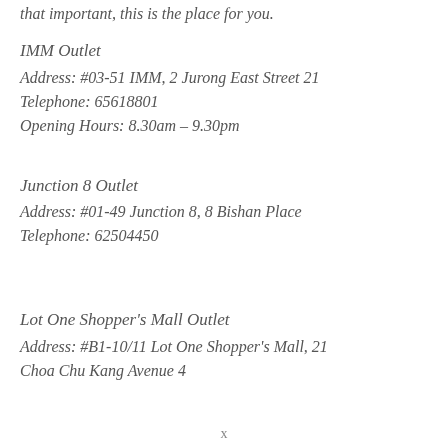that important, this is the place for you.
IMM Outlet
Address: #03-51 IMM, 2 Jurong East Street 21
Telephone: 65618801
Opening Hours: 8.30am – 9.30pm
Junction 8 Outlet
Address: #01-49 Junction 8, 8 Bishan Place
Telephone: 62504450
Lot One Shopper's Mall Outlet
Address: #B1-10/11 Lot One Shopper's Mall, 21
Choa Chu Kang Avenue 4